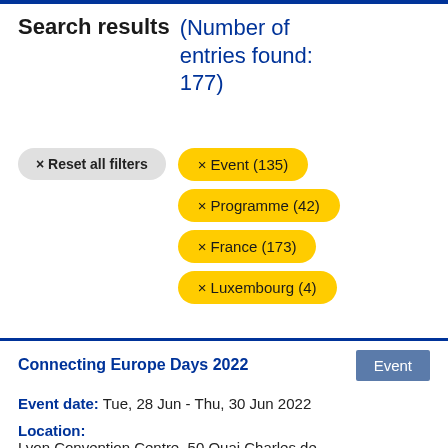Search results (Number of entries found: 177)
× Reset all filters
× Event (135)
× Programme (42)
× France (173)
× Luxembourg (4)
Connecting Europe Days 2022
Event date:   Tue, 28 Jun - Thu, 30 Jun 2022
Location:
Lyon Convention Centre, 50 Quai Charles de